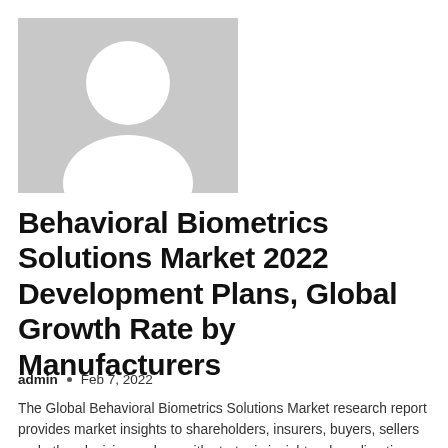[Figure (illustration): Generic user avatar placeholder image: grey square background with white silhouette of a person (circle head above rounded shoulders shape).]
Behavioral Biometrics Solutions Market 2022 Development Plans, Global Growth Rate by Manufacturers
admin  •  Feb 7, 2022
The Global Behavioral Biometrics Solutions Market research report provides market insights to shareholders, insurers, buyers, sellers and other decision makers with strategic insights, clear direction and strong...